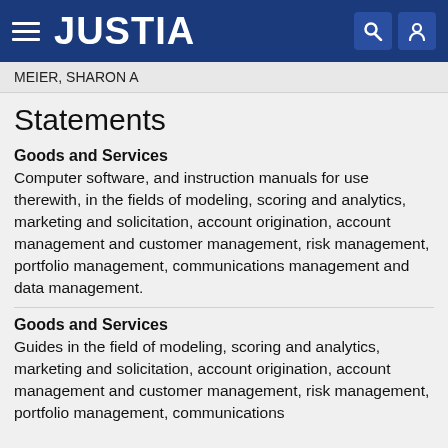JUSTIA
MEIER, SHARON A
Statements
Goods and Services
Computer software, and instruction manuals for use therewith, in the fields of modeling, scoring and analytics, marketing and solicitation, account origination, account management and customer management, risk management, portfolio management, communications management and data management.
Goods and Services
Guides in the field of modeling, scoring and analytics, marketing and solicitation, account origination, account management and customer management, risk management, portfolio management, communications